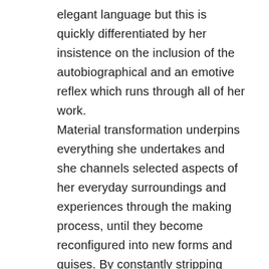elegant language but this is quickly differentiated by her insistence on the inclusion of the autobiographical and an emotive reflex which runs through all of her work. Material transformation underpins everything she undertakes and she channels selected aspects of her everyday surroundings and experiences through the making process, until they become reconfigured into new forms and guises. By constantly stripping away initial reference points the marks and forms that erase and cover concurrently become new visual elements in their